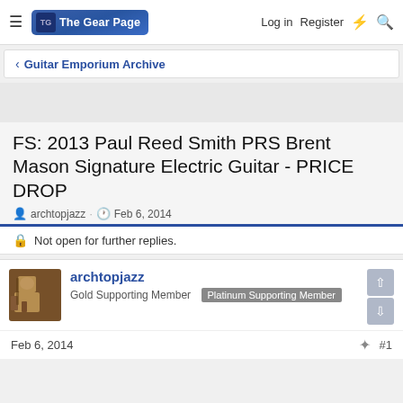The Gear Page — Log in  Register
< Guitar Emporium Archive
FS: 2013 Paul Reed Smith PRS Brent Mason Signature Electric Guitar - PRICE DROP
archtopjazz · Feb 6, 2014
Not open for further replies.
archtopjazz
Gold Supporting Member  Platinum Supporting Member
Feb 6, 2014  #1